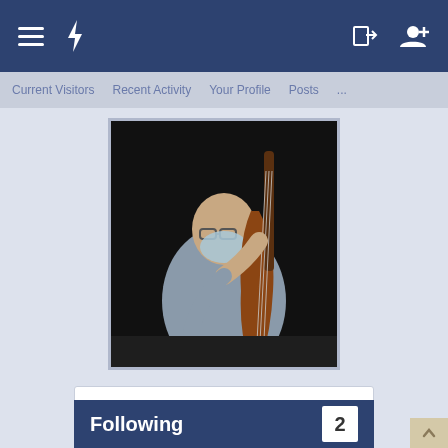Navigation bar with menu, flash, login, and add user icons
Current Visitors  Recent Activity  Your Profile  Posts  ...
[Figure (photo): A person wearing a face mask playing a double bass (upright bass) on a darkened stage, dressed in a grey shirt.]
| Field | Value |
| --- | --- |
| Joined: | May 16, 2012 |
| Messages: | 1,719 |
| Likes Received: | 2,882 |
| Trophy Points: | 173 |
| Reviews: | 1 |
Following  2